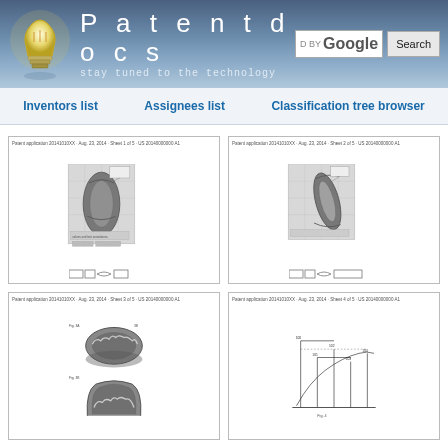[Figure (screenshot): Patentdocs website header with lightbulb logo, site title 'Patentdocs', tagline 'stay tuned to the technology', and Google search box with Search button]
Inventors list   Assignees list   Classification tree browser
[Figure (photo): Patent drawing page showing a dental impression or mold item wrapped in cloth/fabric with grid background, top-left panel]
[Figure (photo): Patent drawing page showing a dental impression or mold item wrapped in cloth/fabric with grid background, top-right panel]
[Figure (photo): Patent drawing page showing two dental arch models (upper and lower jaw impressions), bottom-left panel]
[Figure (engineering-diagram): Patent drawing page showing a technical line diagram with labeled components and dimensions, bottom-right panel]